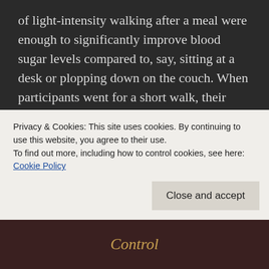of light-intensity walking after a meal were enough to significantly improve blood sugar levels compared to, say, sitting at a desk or plopping down on the couch. When participants went for a short walk, their blood sugar levels rose and fell more gradually.
For people with diabetes, avoiding sharp fluctuations in blood sugar levels is a critical component in managing their illness. It's also thought that sharp spikes and crashes in blood
Privacy & Cookies: This site uses cookies. By continuing to use this website, you agree to their use.
To find out more, including how to control cookies, see here:
Cookie Policy
Close and accept
[Figure (photo): Bottom strip showing partial image with stylized italic text reading 'Control' in gold/orange color on dark reddish-brown background]